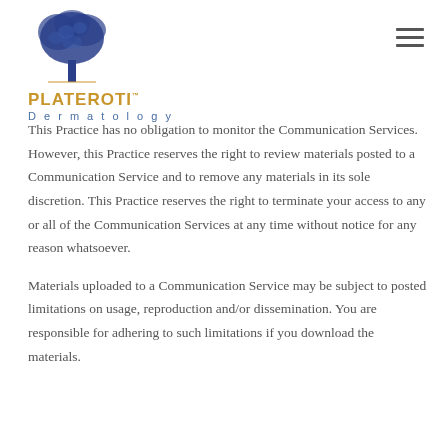[Figure (logo): Plateroti Dermatology logo with blue tree illustration above the text PLATEROTI in gold and Dermatology in blue]
This Practice has no obligation to monitor the Communication Services. However, this Practice reserves the right to review materials posted to a Communication Service and to remove any materials in its sole discretion. This Practice reserves the right to terminate your access to any or all of the Communication Services at any time without notice for any reason whatsoever.
Materials uploaded to a Communication Service may be subject to posted limitations on usage, reproduction and/or dissemination. You are responsible for adhering to such limitations if you download the materials.